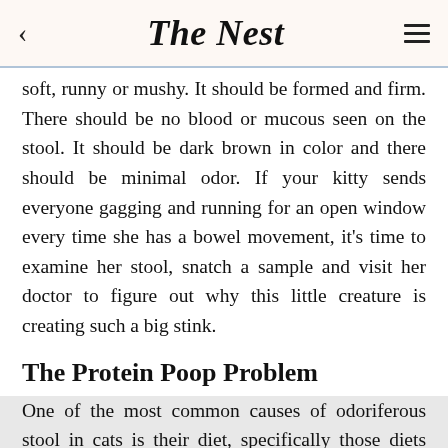The Nest
soft, runny or mushy. It should be formed and firm. There should be no blood or mucous seen on the stool. It should be dark brown in color and there should be minimal odor. If your kitty sends everyone gagging and running for an open window every time she has a bowel movement, it's time to examine her stool, snatch a sample and visit her doctor to figure out why this little creature is creating such a big stink.
The Protein Poop Problem
One of the most common causes of odoriferous stool in cats is their diet, specifically those diets that contain higher amounts of protein. Kitten food is also high in protein to facilitate growth. If your kitty